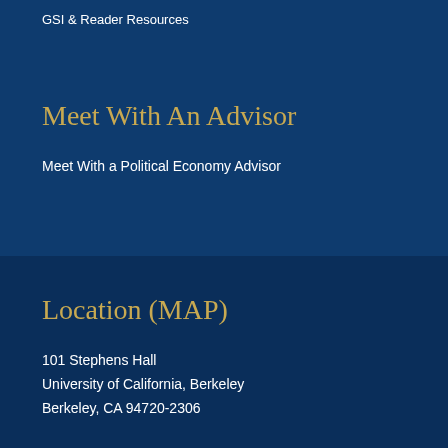GSI & Reader Resources
Meet With An Advisor
Meet With a Political Economy Advisor
Location (MAP)
101 Stephens Hall
University of California, Berkeley
Berkeley, CA 94720-2306